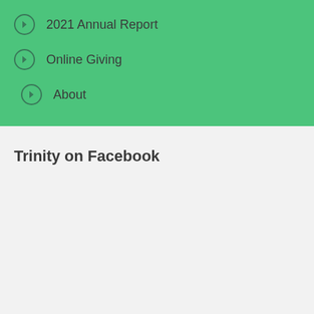2021 Annual Report
Online Giving
About
Trinity on Facebook